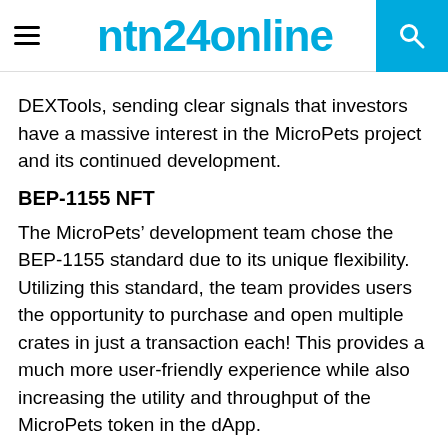ntn24online
DEXTools, sending clear signals that investors have a massive interest in the MicroPets project and its continued development.
BEP-1155 NFT
The MicroPets’ development team chose the BEP-1155 standard due to its unique flexibility. Utilizing this standard, the team provides users the opportunity to purchase and open multiple crates in just a transaction each! This provides a much more user-friendly experience while also increasing the utility and throughput of the MicroPets token in the dApp.
Staking & Marketplace
Users can stake their NFT's in the MicroPets staking pool, earning rewards based on the rarity and staking power of their